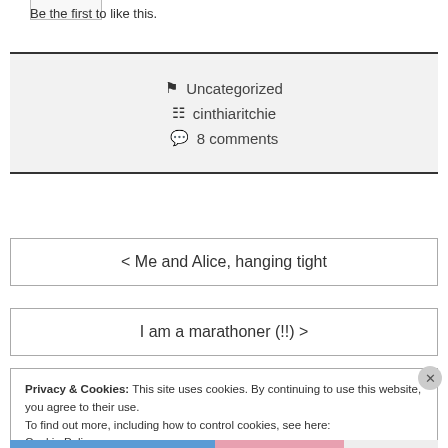Be the first to like this.
🔖 Uncategorized
📄 cinthiaritchie
💬 8 comments
< Me and Alice, hanging tight
I am a marathoner (!!) >
Privacy & Cookies: This site uses cookies. By continuing to use this website, you agree to their use.
To find out more, including how to control cookies, see here:
Cookie Policy
Close and accept